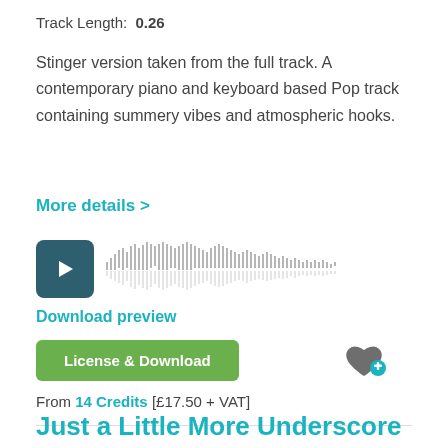Track Length: 0.26
Stinger version taken from the full track. A contemporary piano and keyboard based Pop track containing summery vibes and atmospheric hooks.
More details >
[Figure (other): Audio player with dark teal play button and grey waveform visualization]
Download preview
License & Download
From 14 Credits [£17.50 + VAT]
Just a Little More Underscore